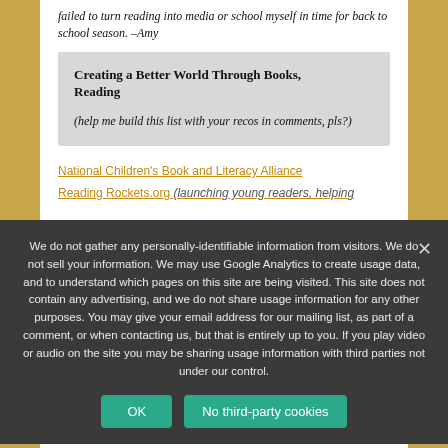...failed to turn reading into media or school myself in time for back to school season. –Amy
Creating a Better World Through Books, Reading
(help me build this list with your recos in comments, pls?)
National Children's Book and Literacy Alliance
Reading Rockets.org (launching young readers, helping...
We do not gather any personally-identifiable information from visitors. We do not sell your information. We may use Google Analytics to create usage data, and to understand which pages on this site are being visited. This site does not contain any advertising, and we do not share usage information for any other purposes. You may give your email address for our mailing list, as part of a comment, or when contacting us, but that is entirely up to you. If you play video or audio on the site you may be sharing usage information with third parties not under our control.